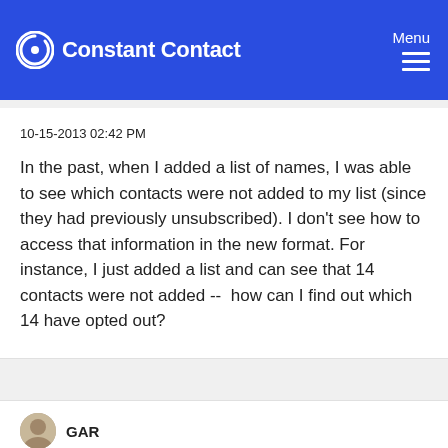Constant Contact | Menu
10-15-2013 02:42 PM
In the past, when I added a list of names, I was able to see which contacts were not added to my list (since they had previously unsubscribed). I don't see how to access that information in the new format. For instance, I just added a list and can see that 14 contacts were not added --  how can I find out which 14 have opted out?